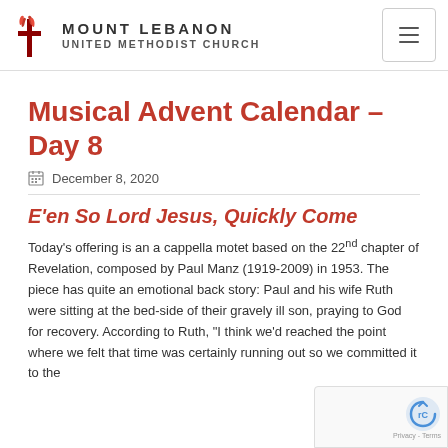Mount Lebanon United Methodist Church
Musical Advent Calendar – Day 8
December 8, 2020
E’en So Lord Jesus, Quickly Come
Today’s offering is an a cappella motet based on the 22nd chapter of Revelation, composed by Paul Manz (1919-2009) in 1953. The piece has quite an emotional back story: Paul and his wife Ruth were sitting at the bed-side of their gravely ill son, praying to God for recovery. According to Ruth, “I think we’d reached the point where we felt that time was certainly running out so we committed it to the